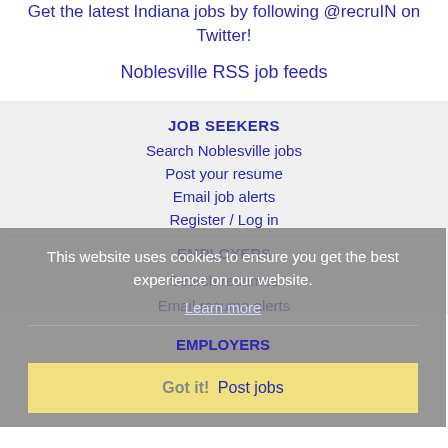Get the latest Indiana jobs by following @recruIN on Twitter!
Noblesville RSS job feeds
JOB SEEKERS
Search Noblesville jobs
Post your resume
Email job alerts
Register / Log in
This website uses cookies to ensure you get the best experience on our website.
Learn more
EMPLOYERS
Got it!  Post jobs
Search resumes
Email resume alerts